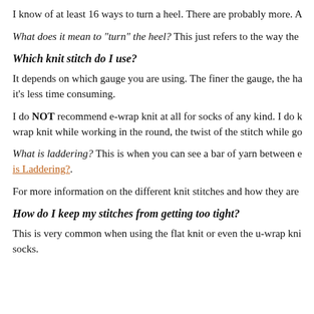I know of at least 16 ways to turn a heel. There are probably more. A
What does it mean to "turn" the heel? This just refers to the way the
Which knit stitch do I use?
It depends on which gauge you are using. The finer the gauge, the ha it's less time consuming.
I do NOT recommend e-wrap knit at all for socks of any kind. I do k wrap knit while working in the round, the twist of the stitch while go
What is laddering? This is when you can see a bar of yarn between e is Laddering?.
For more information on the different knit stitches and how they are
How do I keep my stitches from getting too tight?
This is very common when using the flat knit or even the u-wrap kni socks.